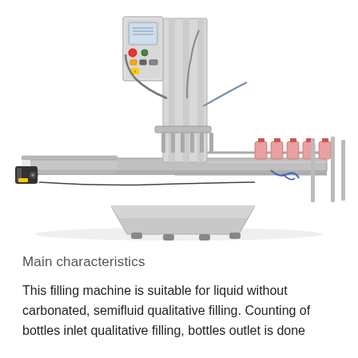[Figure (photo): Industrial liquid filling machine with stainless steel conveyor belt, filling nozzles, control panel with touchscreen, and adjustable leveling feet. Pink/red bottles are visible on the conveyor. The machine has a silver/metallic finish throughout.]
Main characteristics
This filling machine is suitable for liquid without carbonated, semifluid qualitative filling. Counting of bottles inlet qualitative filling, bottles outlet is done